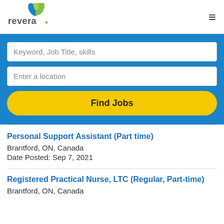[Figure (logo): Revera company logo with green and blue leaf graphic and 'revera' text]
Keyword, Job Title, skills
Enter a location
Find Jobs
Personal Support Assistant (Part time)
Brantford, ON, Canada
Date Posted: Sep 7, 2021
Registered Practical Nurse, LTC (Regular, Part-time)
Brantford, ON, Canada